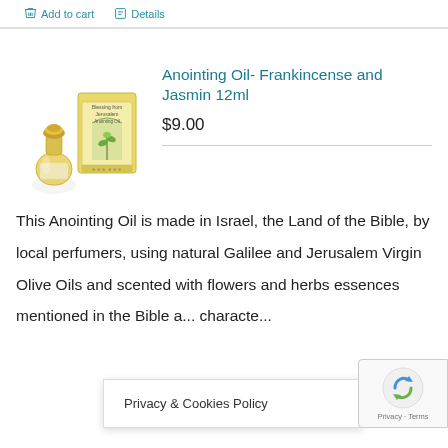Add to cart   Details
[Figure (photo): Product photo showing a small yellow glass anointing oil bottle with gold cap next to its box labeled 'Blessing from Jerusalem Anointing Oil' with a green plant illustration]
Anointing Oil- Frankincense and Jasmin 12ml
$9.00
This Anointing Oil is made in Israel, the Land of the Bible, by local perfumers, using natural Galilee and Jerusalem Virgin Olive Oils and scented with flowers and herbs essences mentioned in the Bible a... characte...
Privacy & Cookies Policy